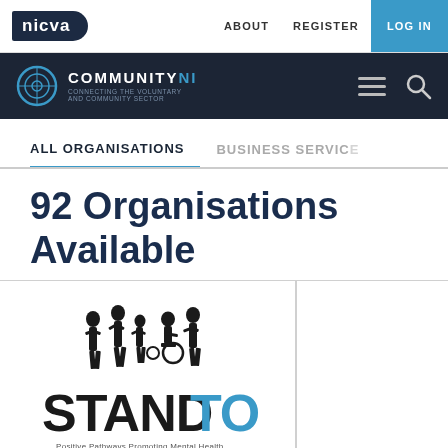[Figure (screenshot): NICVA website top navigation bar with logo, ABOUT, REGISTER, LOG IN links]
[Figure (logo): CommunityNI logo with hamburger menu and search icon on dark navy background]
ALL ORGANISATIONS    BUSINESS SERVICES
92 Organisations Available
[Figure (logo): STANDTO organisation logo with silhouette figures and partial tagline text]